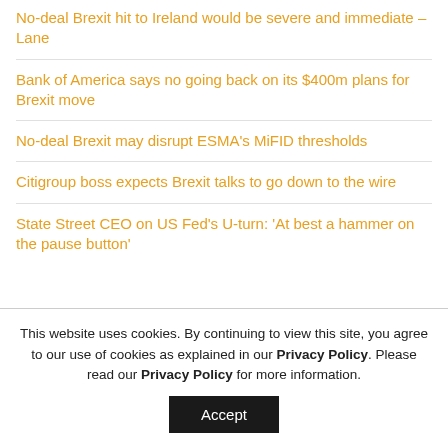No-deal Brexit hit to Ireland would be severe and immediate – Lane
Bank of America says no going back on its $400m plans for Brexit move
No-deal Brexit may disrupt ESMA's MiFID thresholds
Citigroup boss expects Brexit talks to go down to the wire
State Street CEO on US Fed's U-turn: 'At best a hammer on the pause button'
This website uses cookies. By continuing to view this site, you agree to our use of cookies as explained in our Privacy Policy. Please read our Privacy Policy for more information.